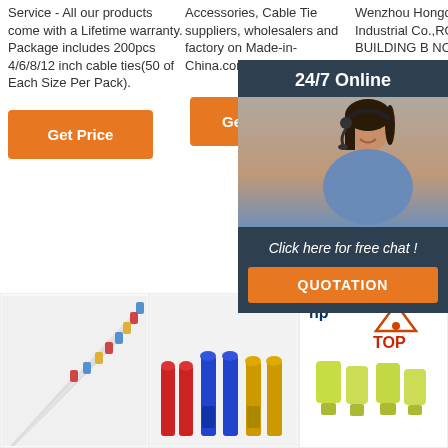Service - All our products come with a Lifetime warranty. Package includes 200pcs 4/6/8/12 inch cable ties(50 of Each Size Per Pack).
Accessories, Cable Tie suppliers, wholesalers and factory on Made-in-China.com
Wenzhou Hongqiang Industrial Co.,ROOM 1101 BUILDING B NO.39 ZHONG ROAD NANXI JIADING SHANG CHINA
[Figure (photo): Customer service representative with headset, chat support overlay panel with '24/7 Online' header and 'Click here for free chat!' text and QUOTATION button]
[Figure (photo): White cables with colored crimp connectors (blue, red, yellow) arranged in a fan/arc pattern]
[Figure (photo): Row of colored terminal connectors: red, blue, and yellow in various styles]
[Figure (photo): HP logo, TOP branding with house/triangle icon, and yellow-green tube connectors/terminals]